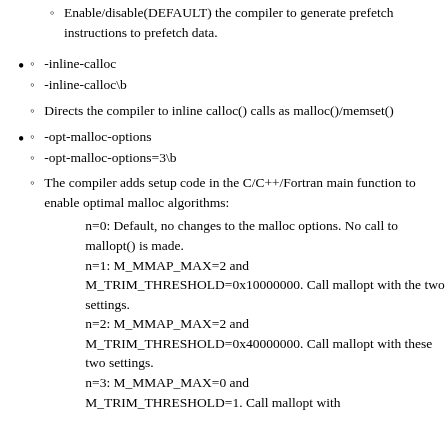Enable/disable(DEFAULT) the compiler to generate prefetch instructions to prefetch data.
-inline-calloc
-inline-calloc\b
Directs the compiler to inline calloc() calls as malloc()/memset()
-opt-malloc-options
-opt-malloc-options=3\b
The compiler adds setup code in the C/C++/Fortran main function to enable optimal malloc algorithms:
n=0: Default, no changes to the malloc options. No call to mallopt() is made.
n=1: M_MMAP_MAX=2 and M_TRIM_THRESHOLD=0x10000000. Call mallopt with the two settings.
n=2: M_MMAP_MAX=2 and M_TRIM_THRESHOLD=0x40000000. Call mallopt with these two settings.
n=3: M_MMAP_MAX=0 and M_TRIM_THRESHOLD=1. Call mallopt with